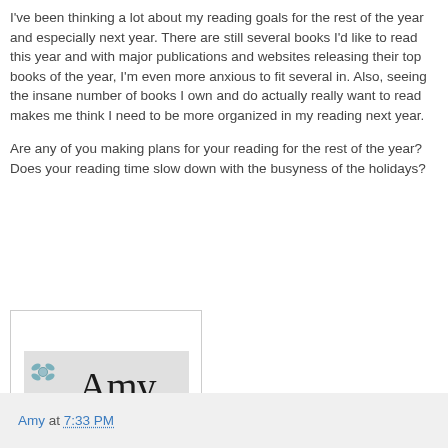I've been thinking a lot about my reading goals for the rest of the year and especially next year. There are still several books I'd like to read this year and with major publications and websites releasing their top books of the year, I'm even more anxious to fit several in. Also, seeing the insane number of books I own and do actually really want to read makes me think I need to be more organized in my reading next year.
Are any of you making plans for your reading for the rest of the year? Does your reading time slow down with the busyness of the holidays?
[Figure (illustration): Handwritten cursive signature reading 'Amy' in black script on a light gray background with a small blue flower decoration, inside a white bordered box.]
Amy at 7:33 PM